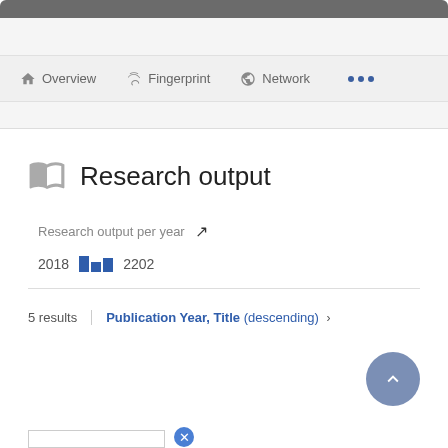[Figure (screenshot): Top dark gray navigation bar, partially cropped]
Overview   Fingerprint   Network   ...
Research output
Research output per year   ↗
2018 ▬▬ 2202
5 results   Publication Year, Title (descending) ›